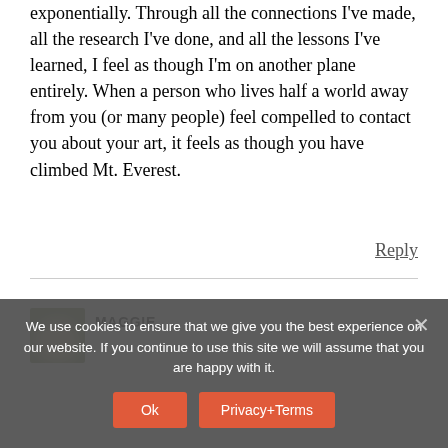exponentially. Through all the connections I've made, all the research I've done, and all the lessons I've learned, I feel as though I'm on another plane entirely. When a person who lives half a world away from you (or many people) feel compelled to contact you about your art, it feels as though you have climbed Mt. Everest.
Reply
MAGGIE
We use cookies to ensure that we give you the best experience on our website. If you continue to use this site we will assume that you are happy with it.
Ok
Privacy+Terms